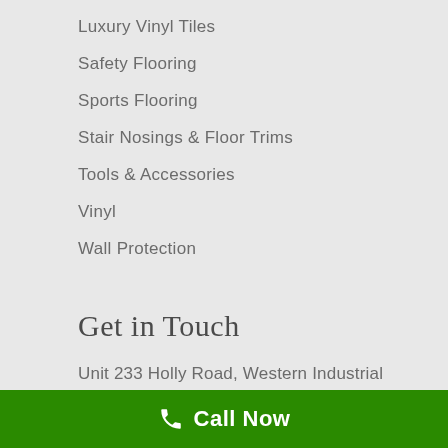Luxury Vinyl Tiles
Safety Flooring
Sports Flooring
Stair Nosings & Floor Trims
Tools & Accessories
Vinyl
Wall Protection
Get in Touch
Unit 233 Holly Road, Western Industrial Estate, Naas Road, Dublin 12.
Google Maps
+353 (0) 1 456 8422
enquiries@contractflooring.ie
Call Now